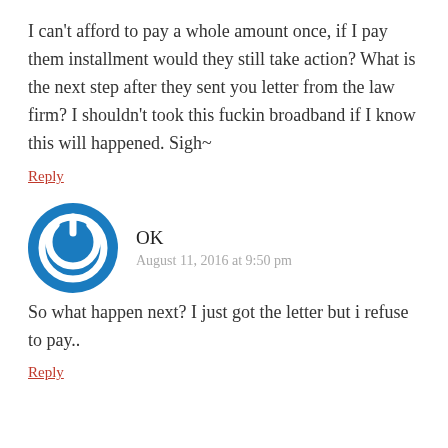I can't afford to pay a whole amount once, if I pay them installment would they still take action? What is the next step after they sent you letter from the law firm? I shouldn't took this fuckin broadband if I know this will happened. Sigh~
Reply
OK
August 11, 2016 at 9:50 pm
So what happen next? I just got the letter but i refuse to pay..
Reply